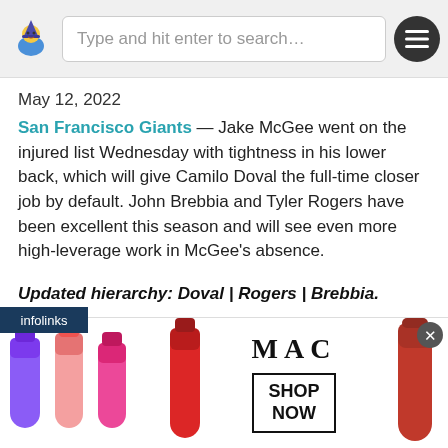Updated hierarchy: Doval | McGee | Rogers
May 12, 2022
San Francisco Giants — Jake McGee went on the injured list Wednesday with tightness in his lower back, which will give Camilo Doval the full-time closer job by default. John Brebbia and Tyler Rogers have been excellent this season and will see even more high-leverage work in McGee's absence.
Updated hierarchy: Doval | Rogers | Brebbia.
April 26, 2022
San Francisco Giants – The Giants put together
[Figure (photo): MAC cosmetics advertisement showing lipsticks with SHOP NOW call to action button]